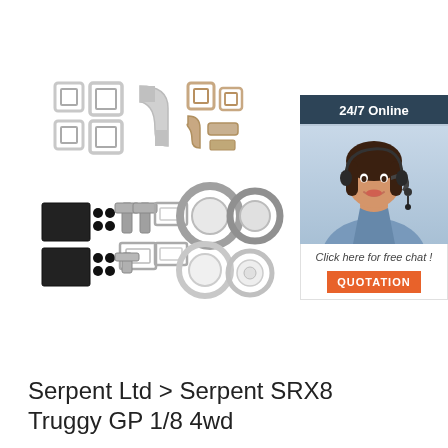[Figure (photo): Product photo showing various RC car parts including metal brackets, clips, weight blocks, and circular bearing holders spread out on a white background]
[Figure (infographic): 24/7 Online chat widget with dark blue header reading '24/7 Online', a photo of a smiling female customer service agent wearing a headset, text 'Click here for free chat!' and an orange QUOTATION button]
Serpent Ltd > Serpent SRX8 Truggy GP 1/8 4wd